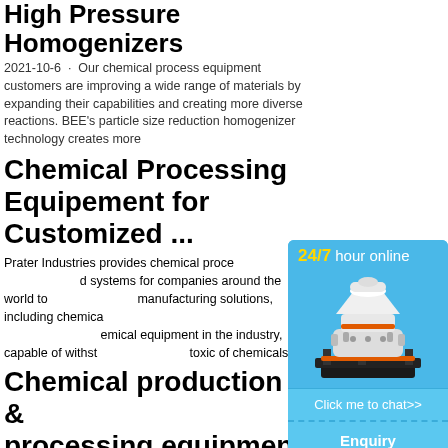High Pressure Homogenizers
2021-10-6 · Our chemical process equipment customers are improving a wide range of materials by expanding their capabilities and creating more diverse reactions. BEE's particle size reduction homogenizer technology creates more
Chemical Processing Equipement for Customized ...
Prater Industries provides chemical process equipment and systems for companies around the world to manufacturing solutions, including chemical Prater offers some of the highest quality chemical equipment in the industry, capable of withstanding the most toxic of chemicals.
Chemical production & processing equipment
[Figure (illustration): Sidebar widget with blue background showing '24/7 hour online' text, an image of an industrial cone crusher/processing machine in white and orange, a 'Click me to chat>>' button, an 'Enquiry' button, and 'limingjlmofen' text at the bottom]
Schenk Process supports chemical process with solutions and technology from the world measuring and process technology. Learn m